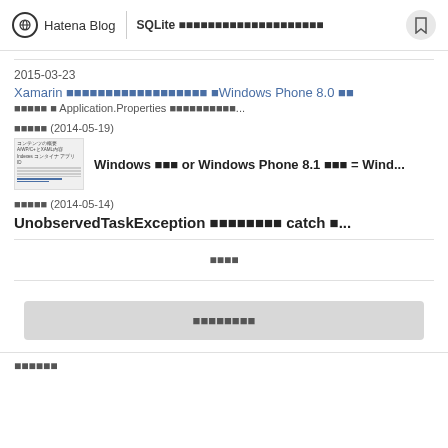Hatena Blog | SQLite ■■■■■■■■■■■■■■■■■■■■■■
2015-03-23
Xamarin ■■■■■■■■■■■■■■■■■■ ■Windows Phone 8.0 ■■
■■■■■ ■ Application.Properties ■■■■■■■■■■■...
■■■■■ (2014-05-19)
[Figure (screenshot): Thumbnail image of a document page with Japanese text]
Windows ■■■ or Windows Phone 8.1 ■■■ = Wind...
■■■■■ (2014-05-14)
UnobservedTaskException ■■■■■■■■ catch ■...
■■■■
■■■■■■■■
■■■■■■